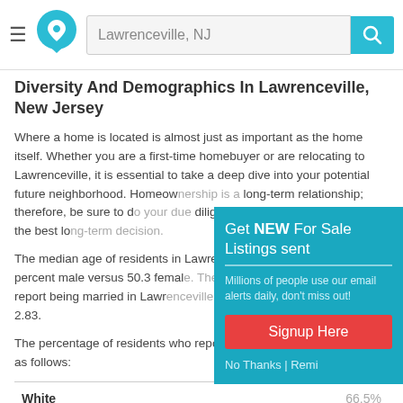Lawrenceville, NJ
Diversity And Demographics In Lawrenceville, New Jersey
Where a home is located is almost just as important as the home itself. Whether you are a first-time homebuyer or are relocating to Lawrenceville, it is essential to take a deep dive into your potential future neighborhood. Homeownership is a long-term relationship; therefore, be sure to do your due diligence to ensure that you make the best long-term decision.
The median age of residents in Lawrenceville is split between 49.7 percent male versus 50.3 female. The percentage of residents who report being married in Lawrenceville is with an average family size of 2.83.
The percentage of residents who report their race in Lawrenceville is as follows:
|  |  |
| --- | --- |
| White | 66.5% |
| Black / African American | 1% |
[Figure (screenshot): Popup overlay with teal background: 'Get NEW For Sale Listings sent' with subtitle 'Millions of people use our email alerts daily, don't miss out!', a red 'Signup Here' button, and 'No Thanks | Remi...' link]